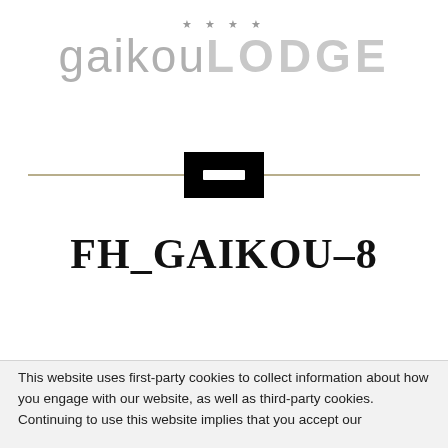[Figure (logo): Gaikou Lodge four-star hotel logo with stars above text 'gaikouLODGE' and a black rectangular icon with white horizontal bar, overlaid on a khaki/gold horizontal divider line]
FH_GAIKOU-8
This website uses first-party cookies to collect information about how you engage with our website, as well as third-party cookies. Continuing to use this website implies that you accept our